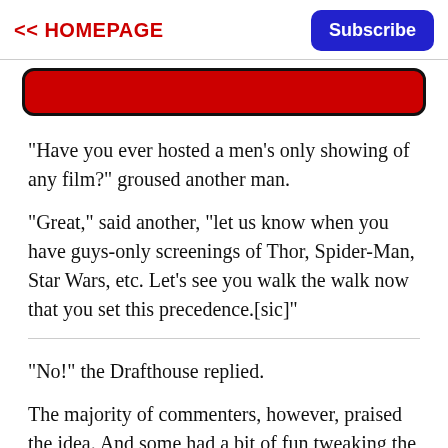<< HOMEPAGE   Subscribe
[Figure (other): Red rounded rectangle banner element at top of article content]
"Have you ever hosted a men's only showing of any film?" groused another man.
"Great," said another, "let us know when you have guys-only screenings of Thor, Spider-Man, Star Wars, etc. Let's see you walk the walk now that you set this precedence.[sic]"
"No!" the Drafthouse replied.
The majority of commenters, however, praised the idea. And some had a bit of fun tweaking the men